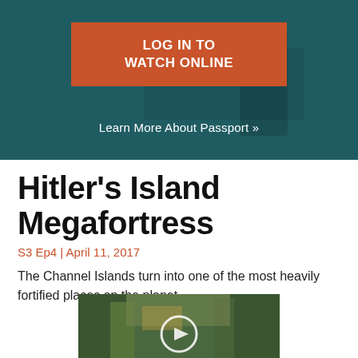[Figure (screenshot): Dark teal hero banner background with a person visible in the background]
LOG IN TO WATCH ONLINE
Learn More About Passport »
Hitler's Island Megafortress
S3 Ep4 | April 11, 2017
The Channel Islands turn into one of the most heavily fortified places on the planet.
[Figure (screenshot): Video thumbnail showing a forest/wooded scene with a play button overlay]